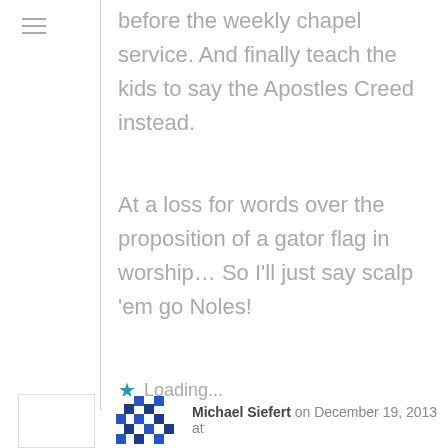before the weekly chapel service. And finally teach the kids to say the Apostles Creed instead.
At a loss for words over the proposition of a gator flag in worship… So I'll just say scalp 'em go Noles!
Loading...
Michael Siefert on December 19, 2013 at